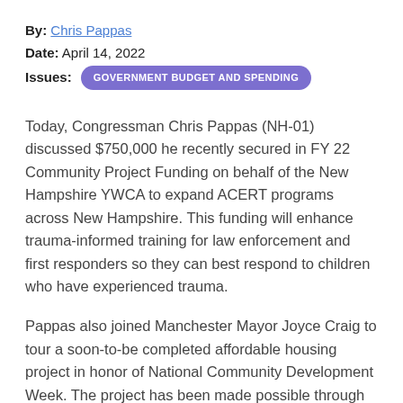By: Chris Pappas
Date: April 14, 2022
Issues: GOVERNMENT BUDGET AND SPENDING
Today, Congressman Chris Pappas (NH-01) discussed $750,000 he recently secured in FY 22 Community Project Funding on behalf of the New Hampshire YWCA to expand ACERT programs across New Hampshire. This funding will enhance trauma-informed training for law enforcement and first responders so they can best respond to children who have experienced trauma.
Pappas also joined Manchester Mayor Joyce Craig to tour a soon-to-be completed affordable housing project in honor of National Community Development Week. The project has been made possible through